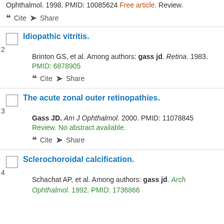Ophthalmol. 1998. PMID: 10085624 Free article. Review.
Idiopathic vitritis. Brinton GS, et al. Among authors: gass jd. Retina. 1983. PMID: 6878905
The acute zonal outer retinopathies. Gass JD. Am J Ophthalmol. 2000. PMID: 11078845 Review. No abstract available.
Sclerochoroidal calcification. Schachat AP, et al. Among authors: gass jd. Arch Ophthalmol. 1992. PMID: 1736866